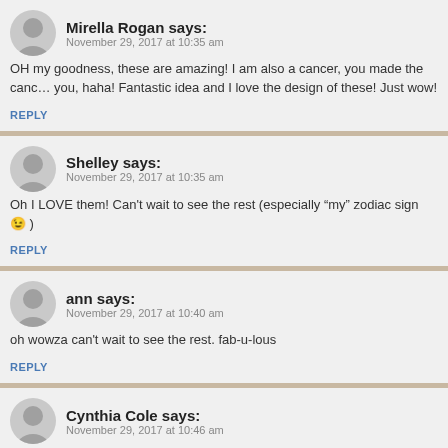Mirella Rogan says:
November 29, 2017 at 10:35 am
OH my goodness, these are amazing! I am also a cancer, you made the cance you, haha! Fantastic idea and I love the design of these! Just wow!
REPLY
Shelley says:
November 29, 2017 at 10:35 am
Oh I LOVE them! Can't wait to see the rest (especially “my” zodiac sign 😉 )
REPLY
ann says:
November 29, 2017 at 10:40 am
oh wowza can't wait to see the rest. fab-u-lous
REPLY
Cynthia Cole says:
November 29, 2017 at 10:46 am
Such cool Uptown Zodiac Girls and I'm Cancer like you. Love them all!
REPLY